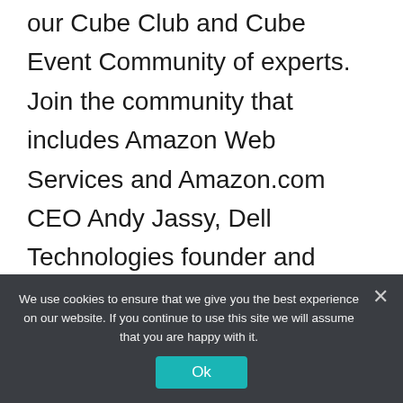our Cube Club and Cube Event Community of experts. Join the community that includes Amazon Web Services and Amazon.com CEO Andy Jassy, Dell Technologies founder and CEO Michael Dell, Intel CEO Pat Gelsinger and many more luminaries and experts.
.
Ethical hacking
We use cookies to ensure that we give you the best experience on our website. If you continue to use this site we will assume that you are happy with it.